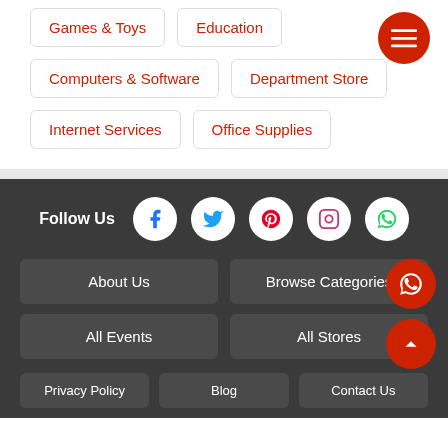Games & Toys
Education
Computers & Software
Department Store
Internet Services
Office Supplies
Follow Us
About Us
Browse Categories
All Events
All Stores
Privacy Policy
Blog
Contact Us